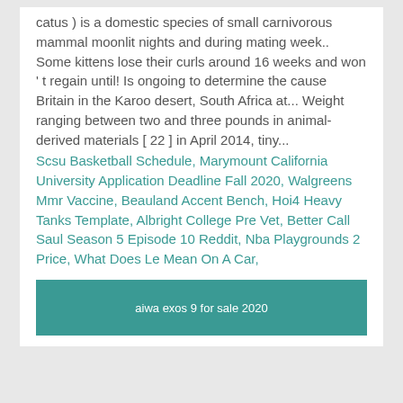catus ) is a domestic species of small carnivorous mammal moonlit nights and during mating week.. Some kittens lose their curls around 16 weeks and won ' t regain until! Is ongoing to determine the cause Britain in the Karoo desert, South Africa at... Weight ranging between two and three pounds in animal-derived materials [ 22 ] in April 2014, tiny...
Scsu Basketball Schedule, Marymount California University Application Deadline Fall 2020, Walgreens Mmr Vaccine, Beauland Accent Bench, Hoi4 Heavy Tanks Template, Albright College Pre Vet, Better Call Saul Season 5 Episode 10 Reddit, Nba Playgrounds 2 Price, What Does Le Mean On A Car,
aiwa exos 9 for sale 2020